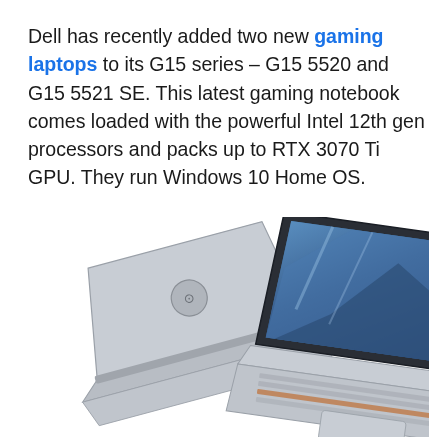Dell has recently added two new gaming laptops to its G15 series – G15 5520 and G15 5521 SE. This latest gaming notebook comes loaded with the powerful Intel 12th gen processors and packs up to RTX 3070 Ti GPU. They run Windows 10 Home OS.
[Figure (photo): Two Dell G15 gaming laptops shown at angles — one displaying its back with the Dell logo and one open showing the screen with a gaming wallpaper and the keyboard with orange accent lighting.]